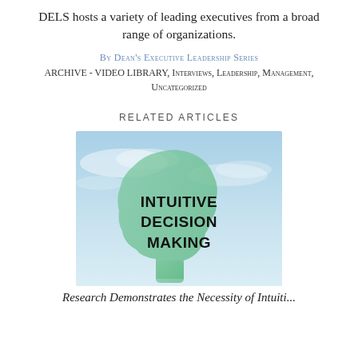DELS hosts a variety of leading executives from a broad range of organizations.
By Dean's Executive Leadership Series
ARCHIVE - VIDEO LIBRARY, Interviews, Leadership, Management, Uncategorized
RELATED ARTICLES
[Figure (photo): Green silhouette of a human head profile against a blue sky background with the text 'INTUITIVE DECISION MAKING' in bold black letters]
Research Demonstrates the Necessity of Intuiti...